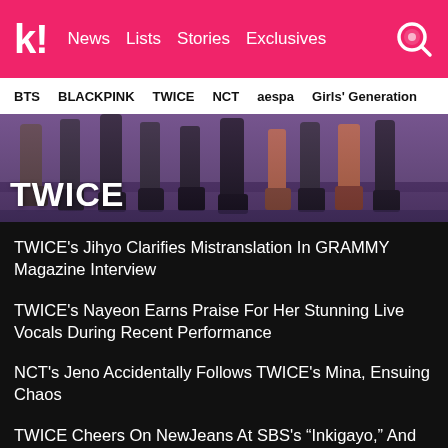k! News  Lists  Stories  Exclusives
BTS  BLACKPINK  TWICE  NCT  aespa  Girls' Generation
[Figure (photo): Banner image showing legs/feet of multiple people wearing boots and heels on a purple/dark stage floor, with TWICE title overlay]
TWICE's Jihyo Clarifies Mistranslation In GRAMMY Magazine Interview
TWICE's Nayeon Earns Praise For Her Stunning Live Vocals During Recent Performance
NCT's Jeno Accidentally Follows TWICE's Mina, Ensuing Chaos
TWICE Cheers On NewJeans At SBS's “Inkigayo,” And Their Reaction Is Too Relatable
See more TWICE